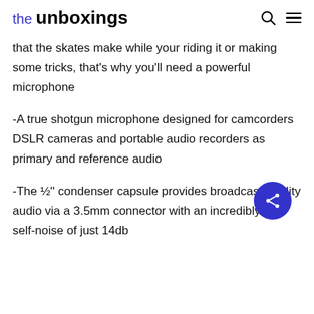the unboxings
that the skates make while your riding it or making some tricks, that's why you'll need a powerful microphone
-A true shotgun microphone designed for camcorders DSLR cameras and portable audio recorders as primary and reference audio
-The ½'' condenser capsule provides broadcast-quality audio via a 3.5mm connector with an incredibly low self-noise of just 14db